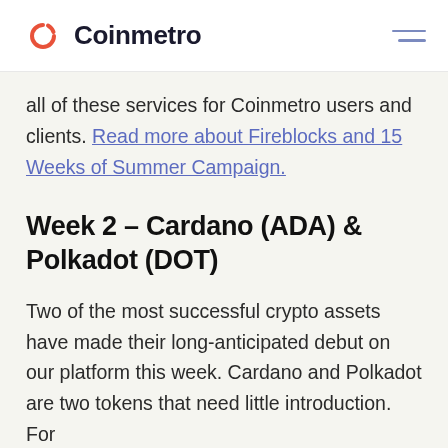Coinmetro
all of these services for Coinmetro users and clients. Read more about Fireblocks and 15 Weeks of Summer Campaign.
Week 2 – Cardano (ADA) & Polkadot (DOT)
Two of the most successful crypto assets have made their long-anticipated debut on our platform this week. Cardano and Polkadot are two tokens that need little introduction. For